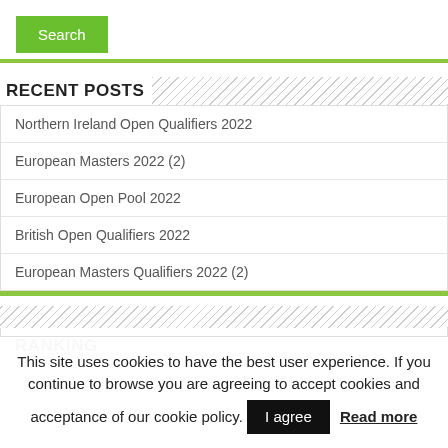Search
RECENT POSTS
Northern Ireland Open Qualifiers 2022
European Masters 2022 (2)
European Open Pool 2022
British Open Qualifiers 2022
European Masters Qualifiers 2022 (2)
RANKING
This site uses cookies to have the best user experience. If you continue to browse you are agreeing to accept cookies and acceptance of our cookie policy. I agree Read more